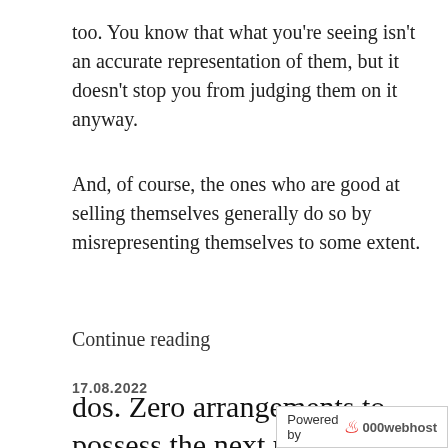too. You know that what you're seeing isn't an accurate representation of them, but it doesn't stop you from judging them on it anyway.
And, of course, the ones who are good at selling themselves generally do so by misrepresenting themselves to some extent.
Continue reading
17.08.2022
dos. Zero arrangements to possess the next rendezvous
A creation connected of the social media and wireless mobile, if this is genuine to you
Powered by 000webhost